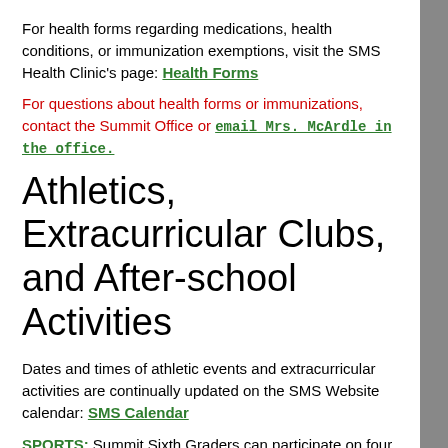For health forms regarding medications, health conditions, or immunization exemptions, visit the SMS Health Clinic's page: Health Forms
For questions about health forms or immunizations, contact the Summit Office or email Mrs. McArdle in the office.
Athletics, Extracurricular Clubs, and After-school Activities
Dates and times of athletic events and extracurricular activities are continually updated on the SMS Website calendar: SMS Calendar
SPORTS: Summit Sixth Graders can participate on four school teams: Cross Country, Wrestling, Swim & Dive, and